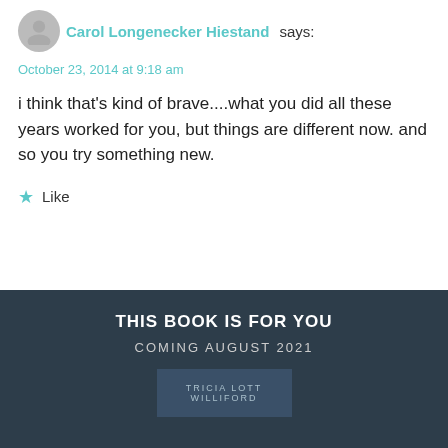Carol Longenecker Hiestand says:
October 23, 2014 at 9:18 am
i think that's kind of brave....what you did all these years worked for you, but things are different now. and so you try something new.
Like
THIS BOOK IS FOR YOU
COMING AUGUST 2021
TRICIA LOTT WILLIFORD